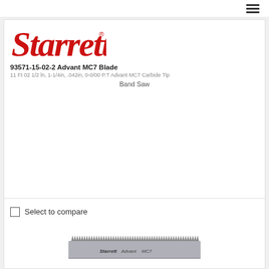[Figure (logo): Starrett red logo with registered trademark symbol]
93571-15-02-2 Advant MC7 Blade
11 Ft 02 1/2 ln, 1-1/4in, .042in, 0-0/00 P.T Advant MC7 Carbide Tip
Band Saw
Select to compare
[Figure (photo): Starrett Advant MC7 band saw blade product image showing a gray blade with serrated teeth along the top edge and Starrett Advant MC7 text printed on it]